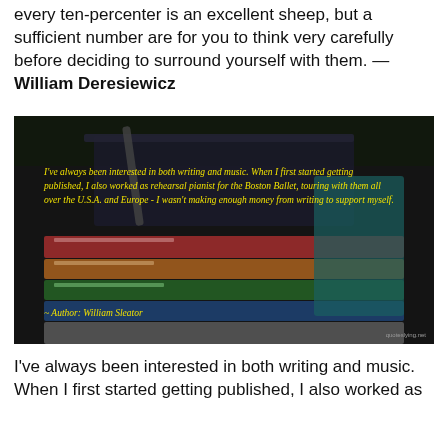every ten-percenter is an excellent sheep, but a sufficient number are for you to think very carefully before deciding to surround yourself with them. — William Deresiewicz
[Figure (photo): A stack of colorful books outdoors on grass with a dark notebook on top, overlaid with a yellow italic quote: 'I've always been interested in both writing and music. When I first started getting published, I also worked as rehearsal pianist for the Boston Ballet, touring with them all over the U.S.A. and Europe - I wasn't making enough money from writing to support myself. ~ Author: William Sleator']
I've always been interested in both writing and music. When I first started getting published, I also worked as